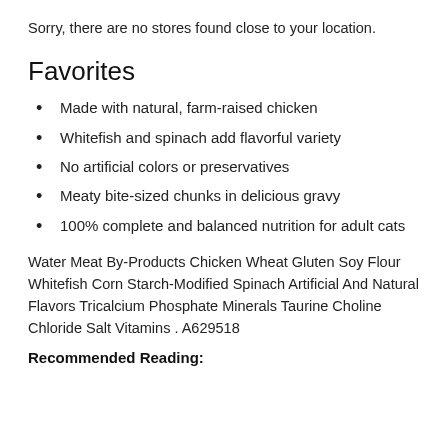Sorry, there are no stores found close to your location.
Favorites
Made with natural, farm-raised chicken
Whitefish and spinach add flavorful variety
No artificial colors or preservatives
Meaty bite-sized chunks in delicious gravy
100% complete and balanced nutrition for adult cats
Water Meat By-Products Chicken Wheat Gluten Soy Flour Whitefish Corn Starch-Modified Spinach Artificial And Natural Flavors Tricalcium Phosphate Minerals Taurine Choline Chloride Salt Vitamins . A629518
Recommended Reading: